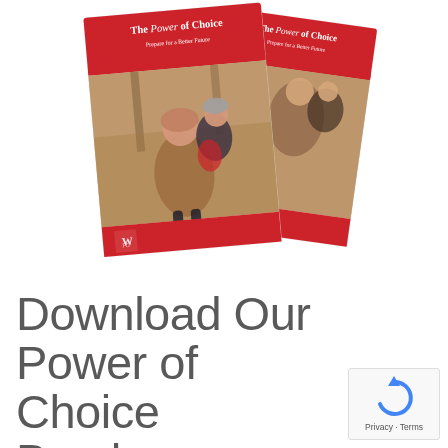[Figure (illustration): Two overlapping brochure covers titled 'The Power of Choice — Prepare for a Better Future' showing a mother carrying a child outdoors in autumn, with a red and white design and a logo (WFG) at the bottom left corner.]
Download Our Power of Choice Brochure.
[Figure (logo): Google reCAPTCHA logo (circular arrow icon) with text 'Privacy · Terms' below it, inside a small white box with border.]